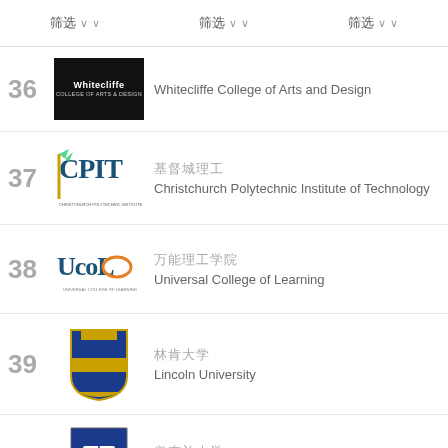筛选 ∨   筛选 ∨   筛选 ∨
36 Whitecliffe College of Arts and Design
37 基督城理工 Christchurch Polytechnic Institute of Technology
38 万能理工学院 Universal College of Learning
39 林肯大学 Lincoln University
40 奥克兰大学 The University of Auckland Faculty of Education